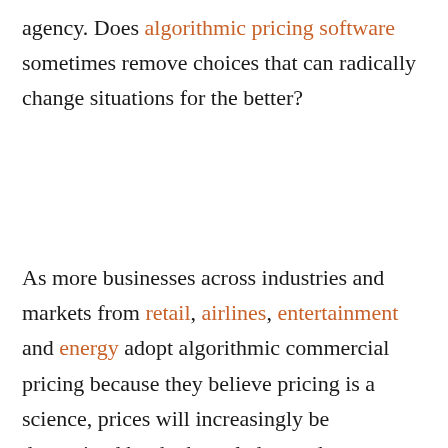agency. Does algorithmic pricing software sometimes remove choices that can radically change situations for the better?
As more businesses across industries and markets from retail, airlines, entertainment and energy adopt algorithmic commercial pricing because they believe pricing is a science, prices will increasingly be determined by the knowledge or data a company has about you, and the relationship between